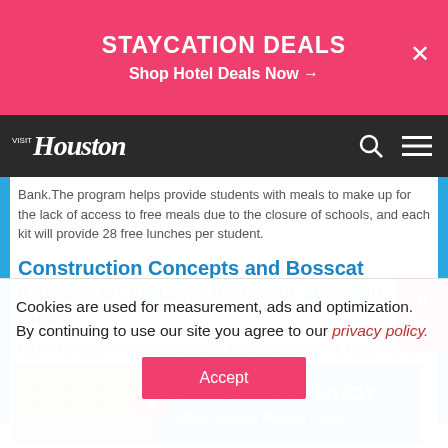STAYCATION DEALS
Shop Hotel Deals Now →
[Figure (screenshot): Visit Houston navigation bar with logo, search and menu icons on dark background]
Bank.The program helps provide students with meals to make up for the lack of access to free meals due to the closure of schools, and each kit will provide 28 free lunches per student.
Construction Concepts and Bosscat Kitchen & Libations donating over 500 meals
BCK Management, the owners of Bosscat Kitchen & Libations and BCK, along with Construction Concepts will donate up to 500 meals for families and medical staff
[Figure (photo): Hotel interior lobby photo]
STAY, UNWIND, ENJOY
Hilton Houston Medical Center ›
Cookies are used for measurement, ads and optimization. By continuing to use our site you agree to our privacy policy.
Accept